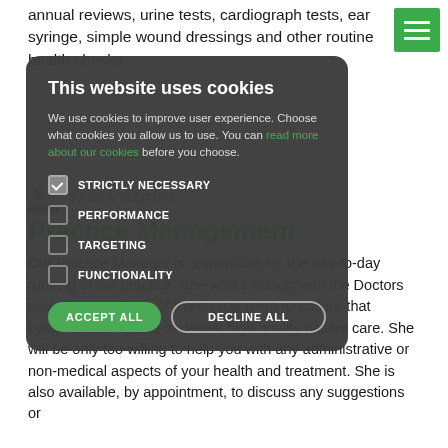annual reviews, urine tests, cardiograph tests, ear syringe, simple wound dressings and other routine health checks.
TANIA MOORE
Practice Management
Our Practice Manager is responsible for the day-to-day running of the practice. She works closely with the Doctors and other members of the clinical team to ensure that systems are in place to deliver high quality patient care. She will be only too willing to help you with any administrative or non-medical aspects of your health and treatment. She is also available, by appointment, to discuss any suggestions or
This website uses cookies
We use cookies to improve user experience. Choose what cookies you allow us to use. You can read more about our cookies before you choose.
STRICTLY NECESSARY
PERFORMANCE
TARGETING
FUNCTIONALITY
ACCEPT ALL   DECLINE ALL